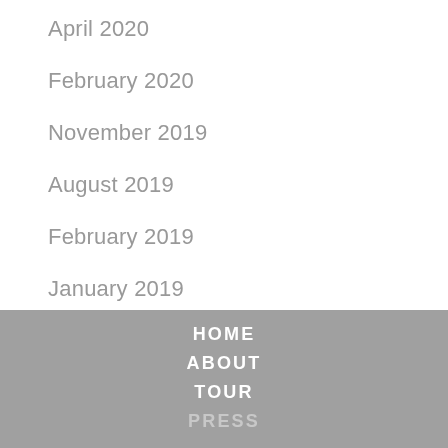April 2020
February 2020
November 2019
August 2019
February 2019
January 2019
September 2018
HOME
ABOUT
TOUR
PRESS